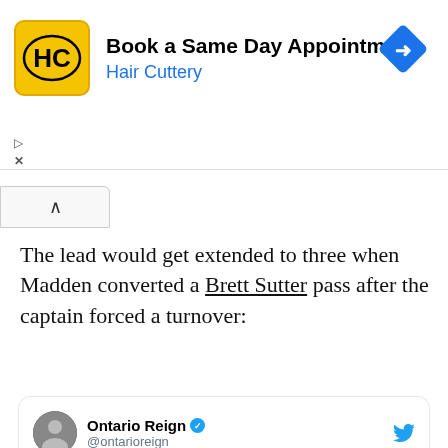[Figure (infographic): Hair Cuttery advertisement banner with yellow HC logo, headline 'Book a Same Day Appointment', subtext 'Hair Cuttery', and blue diamond navigation icon on the right]
The lead would get extended to three when Madden converted a Brett Sutter pass after the captain forced a turnover:
[Figure (screenshot): Embedded tweet from Ontario Reign (@ontarioreign) with fire emoji, blue mention @tp_madden10, text 'right now', fire emoji, and a hockey video thumbnail showing an AHL game with a play button]